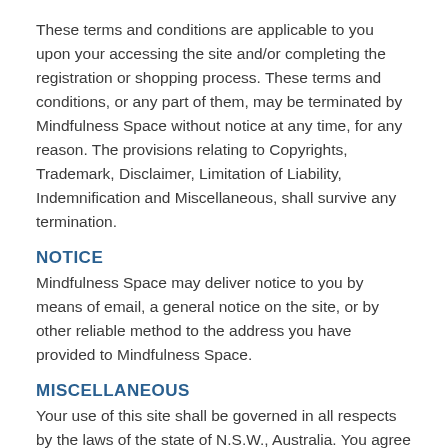These terms and conditions are applicable to you upon your accessing the site and/or completing the registration or shopping process. These terms and conditions, or any part of them, may be terminated by Mindfulness Space without notice at any time, for any reason. The provisions relating to Copyrights, Trademark, Disclaimer, Limitation of Liability, Indemnification and Miscellaneous, shall survive any termination.
NOTICE
Mindfulness Space may deliver notice to you by means of email, a general notice on the site, or by other reliable method to the address you have provided to Mindfulness Space.
MISCELLANEOUS
Your use of this site shall be governed in all respects by the laws of the state of N.S.W., Australia. You agree that jurisdiction over and venue in any legal proceeding directly or indirectly arising out of or relating to this site (including but not limited to the purchase of Mindfulness Space products or services) shall be in the state or federal courts located in Sydney, N.S.W. Any cause of action or claim you